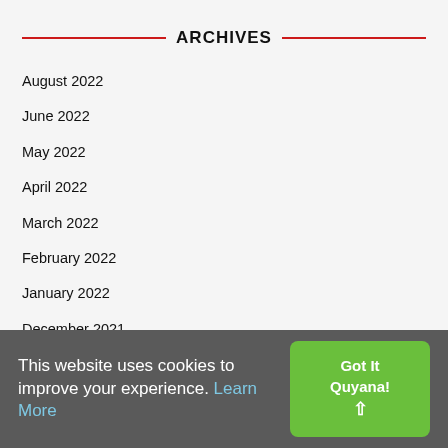ARCHIVES
August 2022
June 2022
May 2022
April 2022
March 2022
February 2022
January 2022
December 2021
November 2021
October 2021
September 2021
August 2021
This website uses cookies to improve your experience. Learn More
Got It Quyana!